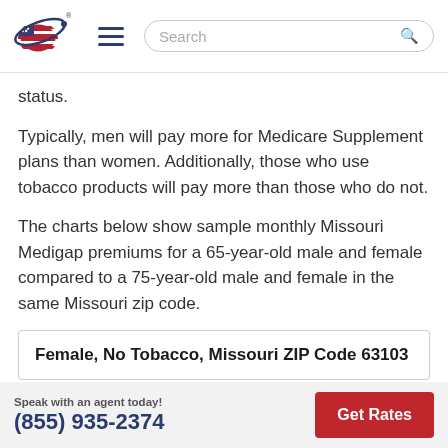Search
status.
Typically, men will pay more for Medicare Supplement plans than women. Additionally, those who use tobacco products will pay more than those who do not.
The charts below show sample monthly Missouri Medigap premiums for a 65-year-old male and female compared to a 75-year-old male and female in the same Missouri zip code.
Female, No Tobacco, Missouri ZIP Code 63103
Speak with an agent today! (855) 935-2374  Get Rates